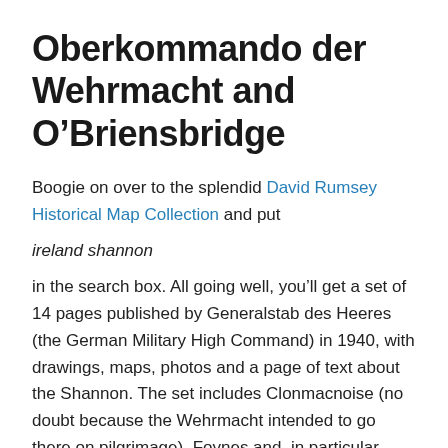Oberkommando der Wehrmacht and O’Briensbridge
Boogie on over to the splendid David Rumsey Historical Map Collection and put
ireland shannon
in the search box. All going well, you’ll get a set of 14 pages published by Generalstab des Heeres (the German Military High Command) in 1940, with drawings, maps, photos and a page of text about the Shannon. The set includes Clonmacnoise (no doubt because the Wehrmacht intended to go there on pilgrimage), Foynes and, in particular, Ardnacrusha, O’Briensbridge, Parteen Villa and